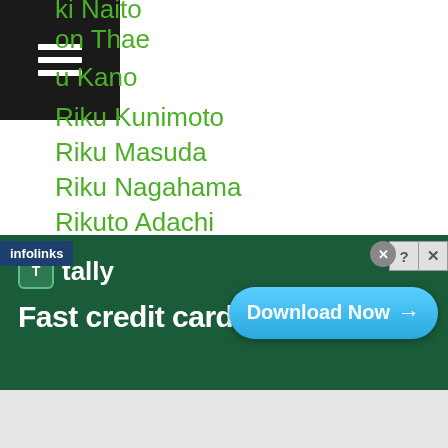ki Naito
on Thae
u Kano
Riku Kunimoto
Riku Masuda
Riku Nagahama
Rikuto Adachi
Rimar Metuda
Ring Card Girls
Ring Girls
Ring-of-diamonds
Ring-of-gold
Rivo Kundimang
Riyako Goshi
Riyo-togo
Robbery
n Gonzalez
[Figure (screenshot): Advertisement banner for Tally app — Fast credit card payoff, with Download Now button, on dark green background. Includes infolinks badge and ad control icons.]